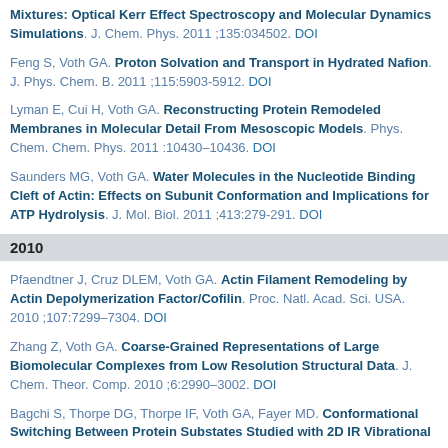Mixtures: Optical Kerr Effect Spectroscopy and Molecular Dynamics Simulations. J. Chem. Phys. 2011;135:034502. DOI
Feng S, Voth GA. Proton Solvation and Transport in Hydrated Nafion. J. Phys. Chem. B. 2011;115:5903-5912. DOI
Lyman E, Cui H, Voth GA. Reconstructing Protein Remodeled Membranes in Molecular Detail From Mesoscopic Models. Phys. Chem. Chem. Phys. 2011:10430–10436. DOI
Saunders MG, Voth GA. Water Molecules in the Nucleotide Binding Cleft of Actin: Effects on Subunit Conformation and Implications for ATP Hydrolysis. J. Mol. Biol. 2011;413:279-291. DOI
2010
Pfaendtner J, Cruz DLEM, Voth GA. Actin Filament Remodeling by Actin Depolymerization Factor/Cofilin. Proc. Natl. Acad. Sci. USA. 2010;107:7299–7304. DOI
Zhang Z, Voth GA. Coarse-Grained Representations of Large Biomolecular Complexes from Low Resolution Structural Data. J. Chem. Theor. Comp. 2010;6:2990–3002. DOI
Bagchi S, Thorpe DG, Thorpe IF, Voth GA, Fayer MD. Conformational Switching Between Protein Substates Studied with 2D IR Vibrational Echo Spectroscopy and Molecular Dynamics Simulations.